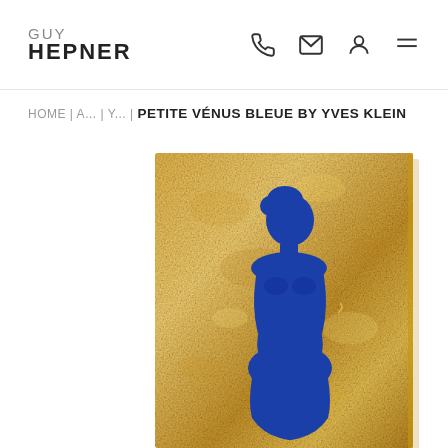GUY HEPNER
HOME | A... | Y... | PETITE VÉNUS BLEUE BY YVES KLEIN
[Figure (photo): A gold-leaf textured panel artwork with a deep blue female figure silhouette (Venus form) set against the golden background. The artwork is 'Petite Vénus Bleue' by Yves Klein. The blue figure is a classical Venus torso shape rendered in International Klein Blue (IKB) pigment on a shimmering gold leaf surface. The panel is shown at a slight angle.]